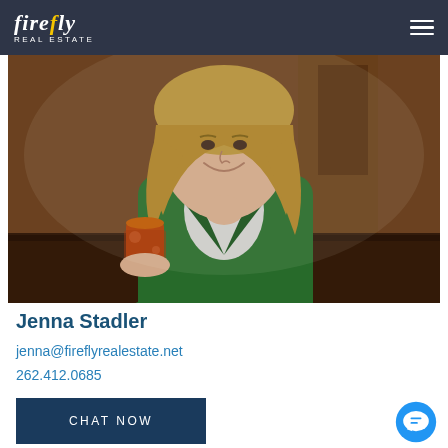firefly REAL ESTATE
[Figure (photo): Professional photo of Jenna Stadler, a woman with blonde hair wearing a green blazer and white top, sitting at a wooden table holding a colorful coffee cup, smiling in a warm interior setting.]
Jenna Stadler
jenna@fireflyrealestate.net
262.412.0685
CHAT NOW